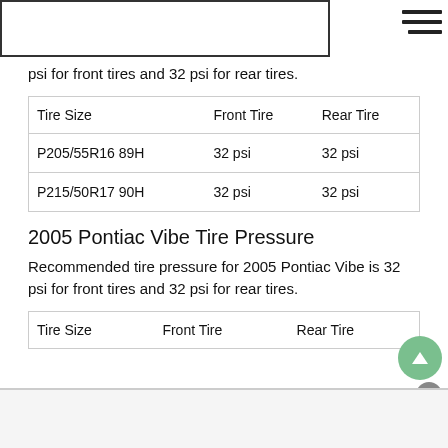[Figure (other): White banner/image placeholder box at top left]
psi for front tires and 32 psi for rear tires.
| Tire Size | Front Tire | Rear Tire |
| --- | --- | --- |
| P205/55R16 89H | 32 psi | 32 psi |
| P215/50R17 90H | 32 psi | 32 psi |
2005 Pontiac Vibe Tire Pressure
Recommended tire pressure for 2005 Pontiac Vibe is 32 psi for front tires and 32 psi for rear tires.
| Tire Size | Front Tire | Rear Tire |
| --- | --- | --- |